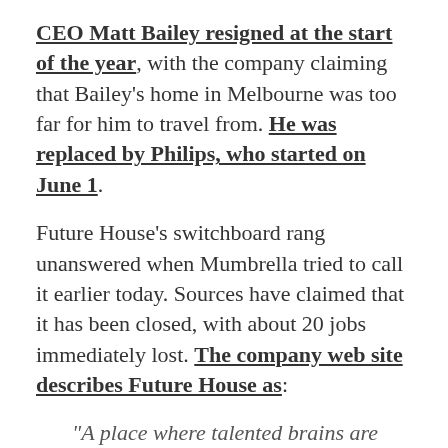CEO Matt Bailey resigned at the start of the year, with the company claiming that Bailey's home in Melbourne was too far for him to travel from. He was replaced by Philips, who started on June 1.
Future House's switchboard rang unanswered when Mumbrella tried to call it earlier today. Sources have claimed that it has been closed, with about 20 jobs immediately lost. The company web site describes Future House as:
“A place where talented brains are nurtured and allowed to develop. We’re making online a better place for everyone to enjoy.”
There are unconfirmed rumours of significant cuts in other Photon companies too.